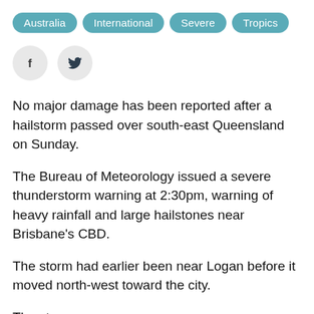Australia
International
Severe
Tropics
[Figure (infographic): Social share buttons: Facebook (f) and Twitter (bird icon) as circular grey buttons]
No major damage has been reported after a hailstorm passed over south-east Queensland on Sunday.
The Bureau of Meteorology issued a severe thunderstorm warning at 2:30pm, warning of heavy rainfall and large hailstones near Brisbane's CBD.
The storm had earlier been near Logan before it moved north-west toward the city.
The storm was...